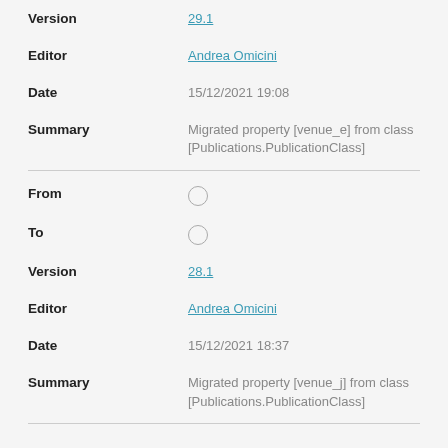| Field | Value |
| --- | --- |
| Version | 29.1 |
| Editor | Andrea Omicini |
| Date | 15/12/2021 19:08 |
| Summary | Migrated property [venue_e] from class [Publications.PublicationClass] |
| Field | Value |
| --- | --- |
| From |  |
| To |  |
| Version | 28.1 |
| Editor | Andrea Omicini |
| Date | 15/12/2021 18:37 |
| Summary | Migrated property [venue_j] from class [Publications.PublicationClass] |